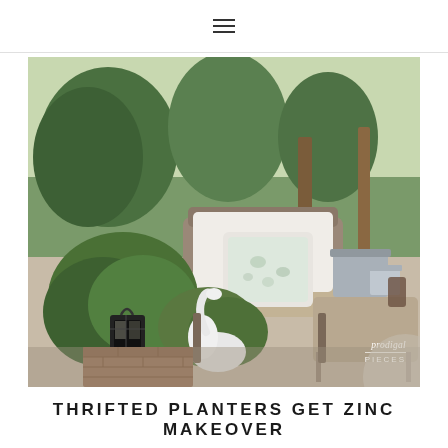≡
[Figure (photo): Outdoor patio scene with a wooden lounge chair with beige cushions and a floral pillow, surrounded by lush green plants including a swan-shaped white planter, a dark lantern, and galvanized metal planters. Wooden deck posts and trees visible in background. Watermark reads 'prodigal pieces' in lower right.]
THRIFTED PLANTERS GET ZINC MAKEOVER